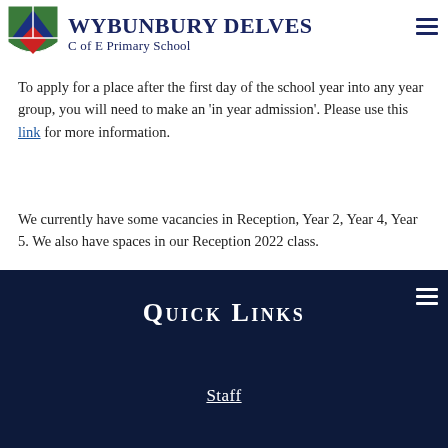Wybunbury Delves C of E Primary School
To apply for a place after the first day of the school year into any year group, you will need to make an 'in year admission'. Please use this link for more information.
We currently have some vacancies in Reception, Year 2, Year 4, Year 5. We also have spaces in our Reception 2022 class.
Quick Links
Staff